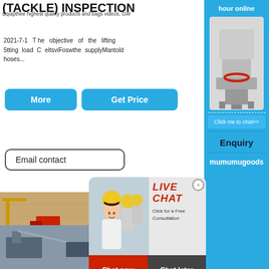(TACKLE) INSPECTION
Equipthee highest quality products and bags videos. GW
2021-7-1  The objective of the lifting 5tting load activity from the supply manifold hoses...
equipment inspection (LEI) course is to enable learners to
[Figure (screenshot): Blue 'More' and 'Get Price' buttons]
[Figure (screenshot): Email contact rounded button]
[Figure (screenshot): Live Chat overlay with person in hard hat, LIVE CHAT heading, Click for a Free Consultation, Chat now and Chat later buttons]
[Figure (photo): Construction/mining site scene with equipment, cranes, excavators and material piles]
[Figure (photo): Bottom scene with machinery and conveyor equipment]
[Figure (screenshot): Right sidebar with blue background showing industrial machine/crusher, Click me to chat>> button, Enquiry section, and mumumugoods text]
hour online
Click me to chat>>
Enquiry
mumumugoods